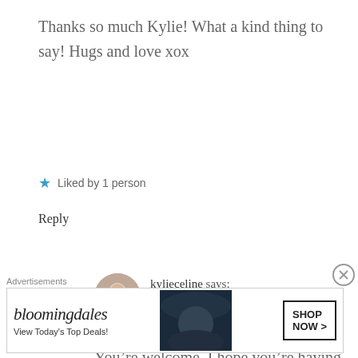Thanks so much Kylie! What a kind thing to say! Hugs and love xox
Liked by 1 person
Reply
kylieceline says: August 6, 2018 at 6:10 pm
You’re welcome, I hope you’re having a blessed
Advertisements
[Figure (other): Bloomingdale's advertisement banner with text 'View Today’s Top Deals!' and 'SHOP NOW >' button, featuring a woman in a wide-brim hat]